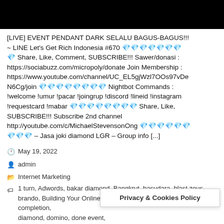[Figure (photo): Black banner/header bar at top of page]
[LIVE] EVENT PENDANT DARK SELALU BAGUS-BAGUS!!! ~ LINE Let's Get Rich Indonesia #670 💎💎💎💎💎💎💎💎 Share, Like, Comment, SUBSCRIBE!!! Sawer/donasi : https://sociabuzz.com/micropoly/donate Join Membership : https://www.youtube.com/channel/UC_EL5gjWzl7OOs97vDeN6Cg/join 💎💎💎💎💎💎💎💎 Nightbot Commands : !welcome !umur !pacar !joingrup !discord !lineid !instagram !requestcard !mabar 💎💎💎💎💎💎💎💎 Share, Like, SUBSCRIBE!!! Subscribe 2nd channel http://youtube.com/c/MichaelStevensonOng 💎💎💎💎💎💎💎💎 – Jasa joki diamond LGR – Group info [...]
May 19, 2022
admin
Internet Marketing
1 turn, Adwords, bakar diamond, Bangkrut, basudara, blast zeus, brando, Building Your Online Presence, Card, champion league, completion, diamond, domino, done event, Facebook Targeting, Funnels, gacha, gameplay, Get Rich, get rich in...[ia], Giveaway, ...Internet Marketing...
Privacy & Cookies Policy